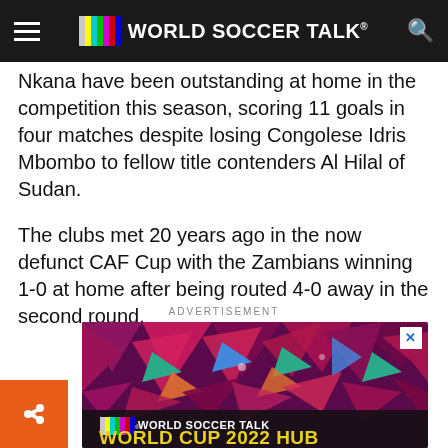WORLD SOCCER TALK
Nkana have been outstanding at home in the competition this season, scoring 11 goals in four matches despite losing Congolese Idris Mbombo to fellow title contenders Al Hilal of Sudan.
The clubs met 20 years ago in the now defunct CAF Cup with the Zambians winning 1-0 at home after being routed 4-0 away in the second round.
ADVERTISEMENT
[Figure (screenshot): World Soccer Talk World Cup 2022 Hub advertisement banner with colorful geometric background]